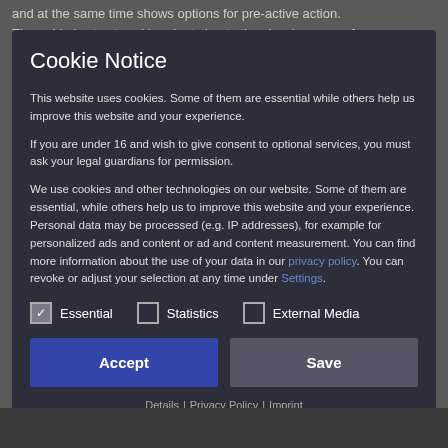and at the same time shows options for pre-active action. The guide is structured in orientation to the classic canon of
Cookie Notice
This website uses cookies. Some of them are essential while others help us improve this website and your experience.
If you are under 16 and wish to give consent to optional services, you must ask your legal guardians for permission.
We use cookies and other technologies on our website. Some of them are essential, while others help us to improve this website and your experience. Personal data may be processed (e.g. IP addresses), for example for personalized ads and content or ad and content measurement. You can find more information about the use of your data in our privacy policy. You can revoke or adjust your selection at any time under Settings.
Essential
Statistics
External Media
Accept
Save
Details | Privacy Policy | Imprint